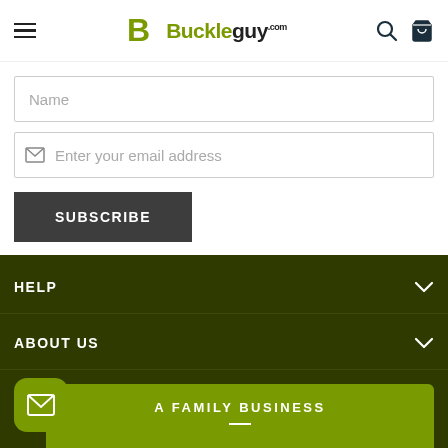Buckleguy.com — navigation header with hamburger menu, logo, search and cart icons
Name
Enter your email address
SUBSCRIBE
HELP
ABOUT US
A FAMILY BUSINESS